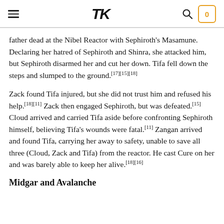≡  TK  🔍  0
father dead at the Nibel Reactor with Sephiroth's Masamune. Declaring her hatred of Sephiroth and Shinra, she attacked him, but Sephiroth disarmed her and cut her down. Tifa fell down the steps and slumped to the ground.[17][15][18]
Zack found Tifa injured, but she did not trust him and refused his help.[18][11] Zack then engaged Sephiroth, but was defeated.[15] Cloud arrived and carried Tifa aside before confronting Sephiroth himself, believing Tifa's wounds were fatal.[11] Zangan arrived and found Tifa, carrying her away to safety, unable to save all three (Cloud, Zack and Tifa) from the reactor. He cast Cure on her and was barely able to keep her alive.[18][16]
Midgar and Avalanche